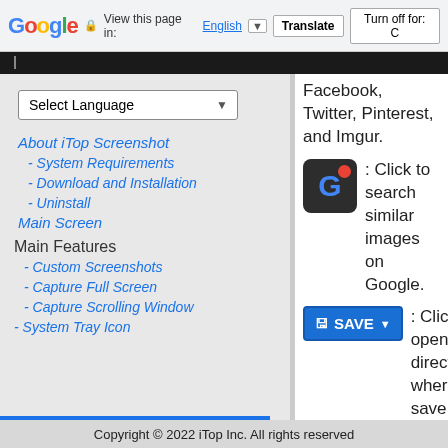Google — View this page in: English ▼ | Translate | Turn off for: C
About iTop Screenshot
- System Requirements
- Download and Installation
- Uninstall
Main Screen
Main Features
- Custom Screenshots
- Capture Full Screen
- Capture Scrolling Window
- System Tray Icon
Facebook, Twitter, Pinterest, and Imgur.
[Figure (screenshot): Google icon with red badge on dark background]
: Click to search similar images on Google.
[Figure (screenshot): Blue SAVE button with dropdown arrow]
: Click to open the directory where you save the screenshot to.
Settings
Copyright © 2022 iTop Inc. All rights reserved